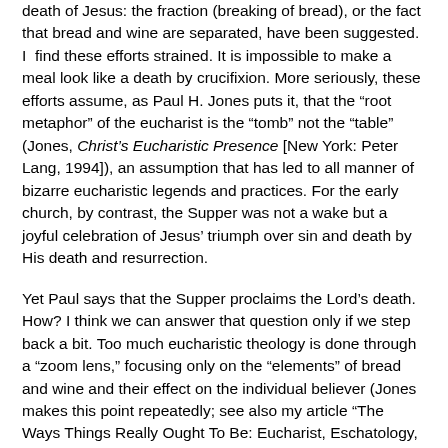death of Jesus: the fraction (breaking of bread), or the fact that bread and wine are separated, have been suggested. I find these efforts strained. It is impossible to make a meal look like a death by crucifixion. More seriously, these efforts assume, as Paul H. Jones puts it, that the “root metaphor” of the eucharist is the “tomb” not the “table” (Jones, Christ's Eucharistic Presence [New York: Peter Lang, 1994]), an assumption that has led to all manner of bizarre eucharistic legends and practices. For the early church, by contrast, the Supper was not a wake but a joyful celebration of Jesus’ triumph over sin and death by His death and resurrection.
Yet Paul says that the Supper proclaims the Lord’s death. How? I think we can answer that question only if we step back a bit. Too much eucharistic theology is done through a “zoom lens,” focusing only on the “elements” of bread and wine and their effect on the individual believer (Jones makes this point repeatedly; see also my article “The Ways Things Really Ought To Be: Eucharist, Eschatology, and Culture,” Westminster Theological Journal, forthcoming). Think of the debates about the Supper that have occupied theologians: Do the bread and wine change into the body